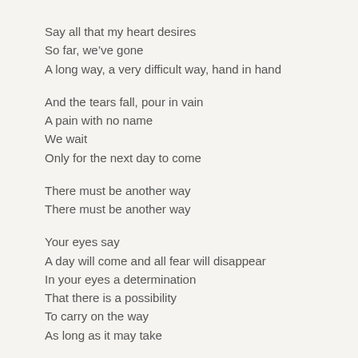Say all that my heart desires
So far, we've gone
A long way, a very difficult way, hand in hand
And the tears fall, pour in vain
A pain with no name
We wait
Only for the next day to come
There must be another way
There must be another way
Your eyes say
A day will come and all fear will disappear
In your eyes a determination
That there is a possibility
To carry on the way
As long as it may take